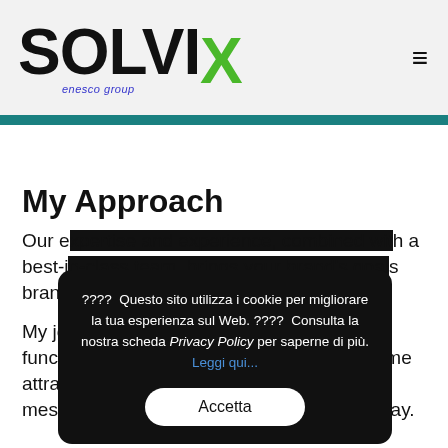[Figure (logo): SOLVIX logo with green X and 'enesco group' subtitle in blue italic]
My Approach
Our e[xpertise and experience, combined wit]h a best-i[n-class team, brings your brand's goal]s brand[.]

My jo[b is to create a website that is both ]functi[onal, conversion-oriented and at th]e time attractive. My aim is to bring across your message and identity in the most creative way.
???? Questo sito utilizza i cookie per migliorare la tua esperienza sul Web. ???? Consulta la nostra scheda Privacy Policy per saperne di più. Leggi qui...